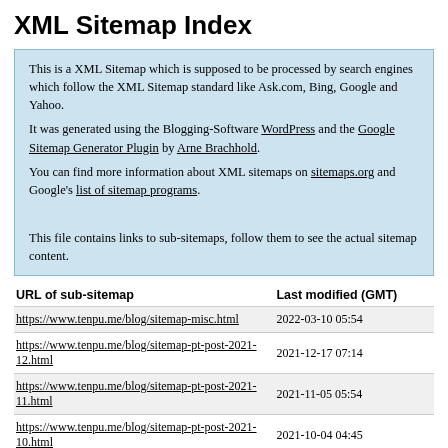XML Sitemap Index
This is a XML Sitemap which is supposed to be processed by search engines which follow the XML Sitemap standard like Ask.com, Bing, Google and Yahoo.
It was generated using the Blogging-Software WordPress and the Google Sitemap Generator Plugin by Arne Brachhold.
You can find more information about XML sitemaps on sitemaps.org and Google's list of sitemap programs.

This file contains links to sub-sitemaps, follow them to see the actual sitemap content.
| URL of sub-sitemap | Last modified (GMT) |
| --- | --- |
| https://www.tenpu.me/blog/sitemap-misc.html | 2022-03-10 05:54 |
| https://www.tenpu.me/blog/sitemap-pt-post-2021-12.html | 2021-12-17 07:14 |
| https://www.tenpu.me/blog/sitemap-pt-post-2021-11.html | 2021-11-05 05:54 |
| https://www.tenpu.me/blog/sitemap-pt-post-2021-10.html | 2021-10-04 04:45 |
| https://www.tenpu.me/blog/sitemap-pt-post-2021-09.html | 2021-09-07 05:51 |
| https://www.tenpu.me/blog/sitemap-pt-post-2021-08.html | 2021-08-02 07:06 |